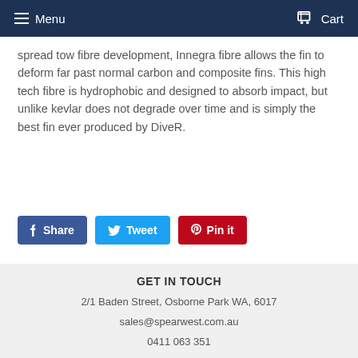Menu  Cart
spread tow fibre development, Innegra fibre allows the fin to deform far past normal carbon and composite fins. This high tech fibre is hydrophobic and designed to absorb impact, but unlike kevlar does not degrade over time and is simply the best fin ever produced by DiveR.
Share  Tweet  Pin it
GET IN TOUCH
2/1 Baden Street, Osborne Park WA, 6017
sales@spearwest.com.au
0411 063 351